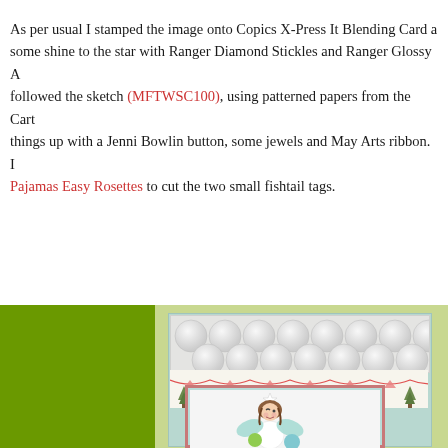As per usual I stamped the image onto Copics X-Press It Blending Card and added some shine to the star with Ranger Diamond Stickles and Ranger Glossy A... followed the sketch (MFTWSC100), using patterned papers from the Cart... things up with a Jenni Bowlin button, some jewels and May Arts ribbon. I... Pajamas Easy Rosettes to cut the two small fishtail tags.
[Figure (photo): A handmade greeting card featuring a fairy/angel stamped image colored with Copics, mounted on layered card stock with light blue, coral/red, and white panels. Background paper has Christmas tree and bunting pattern. The card is photographed against a bright green background.]